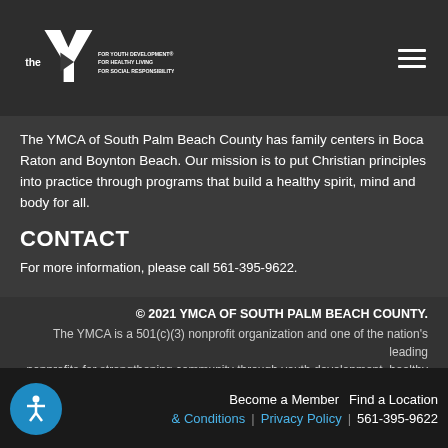[Figure (logo): YMCA 'the Y' logo in white with taglines: FOR YOUTH DEVELOPMENT, FOR HEALTHY LIVING, FOR SOCIAL RESPONSIBILITY]
The YMCA of South Palm Beach County has family centers in Boca Raton and Boynton Beach. Our mission is to put Christian principles into practice through programs that build a healthy spirit, mind and body for all.
CONTACT
For more information, please call 561-395-9622.
© 2021 YMCA OF SOUTH PALM BEACH COUNTY.
The YMCA is a 501(c)(3) nonprofit organization and one of the nation's leading nonprofits for strengthening community through youth development, healthy living and social responsibility.
Become a Member   Find a Location   & Conditions   |   Privacy Policy   |   561-395-9622